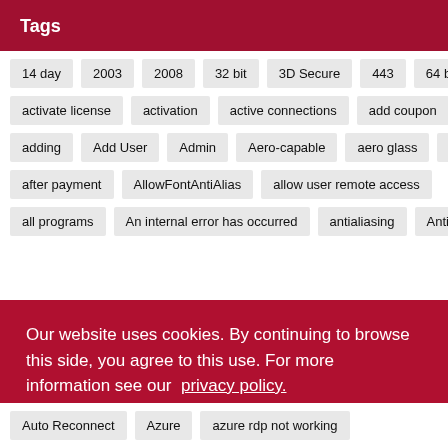Tags
14 day
2003
2008
32 bit
3D Secure
443
64 bit
activate
activate license
activation
active connections
add coupon
adding
Add User
Admin
Aero-capable
aero glass
aero-glass
after payment
AllowFontAntiAlias
allow user remote access
all programs
An internal error has occurred
antialiasing
Antivir
Our website uses cookies. By continuing to browse this side, you agree to this use. For more information see our privacy policy.
I understand.
Auto Reconnect
Azure
azure rdp not working